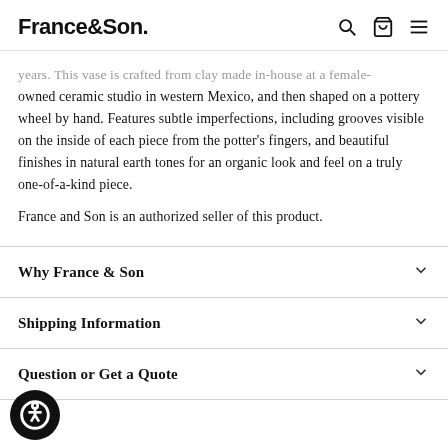France&Son
years. This vase is crafted from clay made in-house at a female-owned ceramic studio in western Mexico, and then shaped on a pottery wheel by hand. Features subtle imperfections, including grooves visible on the inside of each piece from the potter's fingers, and beautiful finishes in natural earth tones for an organic look and feel on a truly one-of-a-kind piece.
France and Son is an authorized seller of this product.
Why France & Son
Shipping Information
Question or Get a Quote